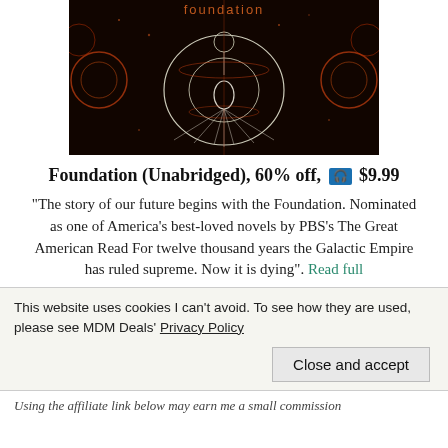[Figure (illustration): Book cover for 'Foundation' showing a dark background with orange and white geometric/cosmic art patterns and the word 'foundation' at the top in orange text.]
Foundation (Unabridged), 60% off, [audiobook icon] $9.99
"The story of our future begins with the Foundation. Nominated as one of America's best-loved novels by PBS's The Great American Read For twelve thousand years the Galactic Empire has ruled supreme. Now it is dying". Read full
This website uses cookies I can't avoid. To see how they are used, please see MDM Deals' Privacy Policy
Close and accept
Using the affiliate link below may earn me a small commission